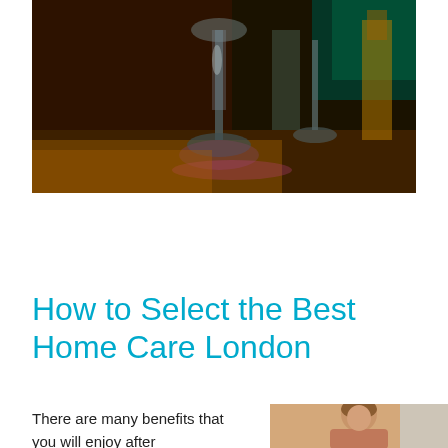[Figure (photo): Close-up photo of wine glasses on a dark table with colorful ambient lighting (warm orange, green tones)]
How to Select the Best Home Care London
There are many benefits that you will enjoy after
[Figure (photo): Photo of a person, likely in a home care context]